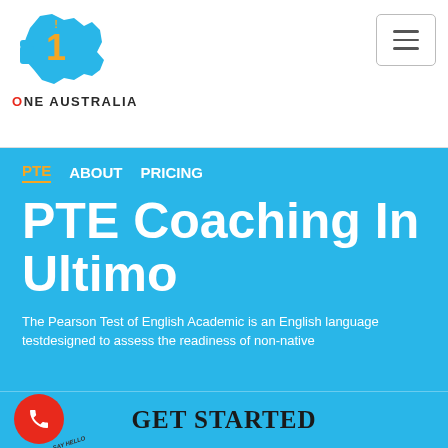[Figure (logo): One Australia logo with Australian map silhouette and number 1]
ONE AUSTRALIA
PTE Coaching In Ultimo
PTE
ABOUT
PRICING
The Pearson Test of English Academic is an English language testdesigned to assess the readiness of non-native
GET STARTED